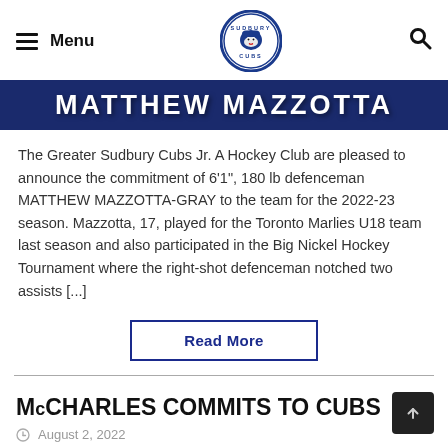Menu [Sudbury Cubs Logo] [Search]
[Figure (illustration): Dark navy blue banner with white bold uppercase text reading MATTHEW MAZZOTTA]
The Greater Sudbury Cubs Jr. A Hockey Club are pleased to announce the commitment of 6'1", 180 lb defenceman MATTHEW MAZZOTTA-GRAY to the team for the 2022-23 season. Mazzotta, 17, played for the Toronto Marlies U18 team last season and also participated in the Big Nickel Hockey Tournament where the right-shot defenceman notched two assists [...]
Read More
McCHARLES COMMITS TO CUBS
August 2, 2022